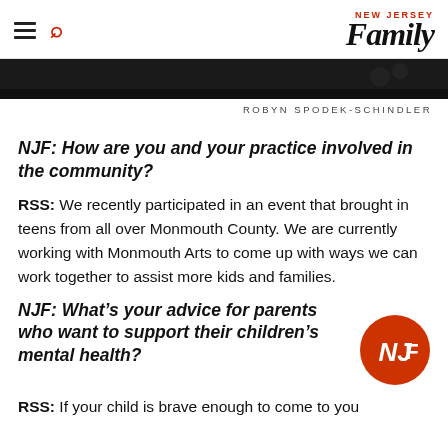NEW JERSEY Family
[Figure (photo): Dark background image strip at top of article]
ROBYN SPODEK-SCHINDLER
NJF: How are you and your practice involved in the community?
RSS: We recently participated in an event that brought in teens from all over Monmouth County. We are currently working with Monmouth Arts to come up with ways we can work together to assist more kids and families.
NJF: What's your advice for parents who want to support their children's mental health?
[Figure (logo): NJF circular orange logo badge]
RSS: If your child is brave enough to come to you